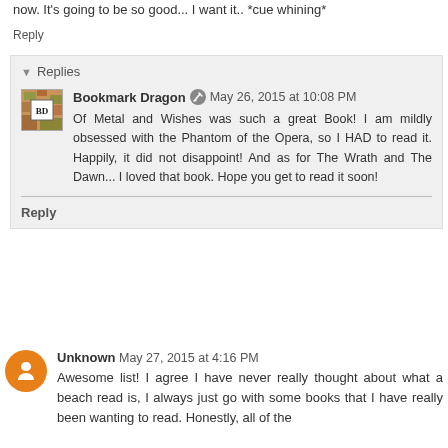now. It's going to be so good... I want it.. *cue whining*
Reply
Replies
Bookmark Dragon   May 26, 2015 at 10:08 PM
Of Metal and Wishes was such a great Book! I am mildly obsessed with the Phantom of the Opera, so I HAD to read it. Happily, it did not disappoint! And as for The Wrath and The Dawn... I loved that book. Hope you get to read it soon!
Reply
Unknown   May 27, 2015 at 4:16 PM
Awesome list! I agree I have never really thought about what a beach read is, I always just go with some books that I have really been wanting to read. Honestly, all of the